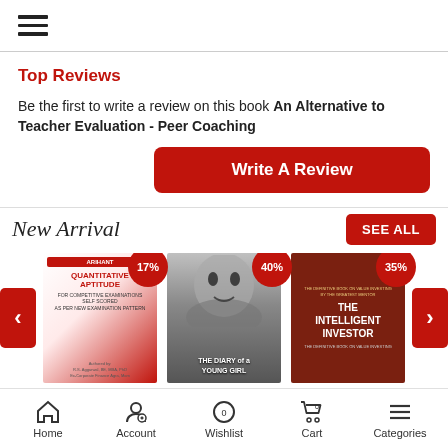☰ (hamburger menu)
Top Reviews
Be the first to write a review on this book An Alternative to Teacher Evaluation - Peer Coaching
Write A Review
New Arrival
SEE ALL
[Figure (illustration): Book cover: Quantitative Aptitude with 17% discount badge]
[Figure (illustration): Book cover: The Diary of a Young Girl with 40% discount badge]
[Figure (illustration): Book cover: The Intelligent Investor with 35% discount badge]
Home | Account | Wishlist (0) | Cart (0) | Categories